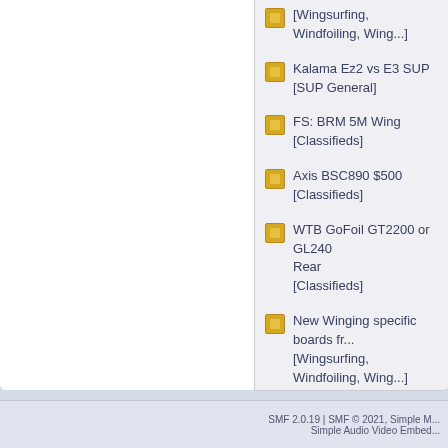[Wingsurfing, Windfoiling, Wing...]
Kalama Ez2 vs E3 SUP
[SUP General]
FS: BRM 5M Wing
[Classifieds]
Axis BSC890 $500
[Classifieds]
WTB GoFoil GT2200 or GL240 Rear
[Classifieds]
New Winging specific boards fr...
[Wingsurfing, Windfoiling, Wing...]
Cedrus Aluminum Mast
[Wingsurfing, Windfoiling, Wing...]
SMF 2.0.19 | SMF © 2021, Simple M...
Simple Audio Video Embed...